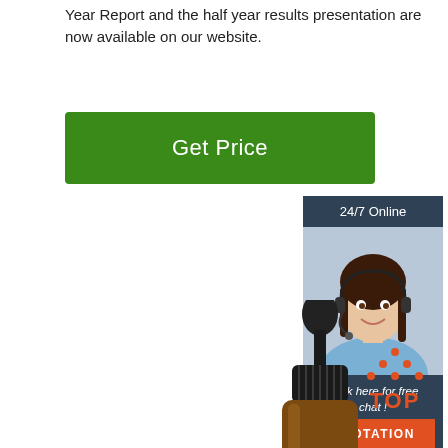Year Report and the half year results presentation are now available on our website.
[Figure (other): Green 'Get Price' button]
[Figure (other): 24/7 Online chat widget with photo of woman with headset, 'Click here for free chat!' text, and orange QUOTATION button]
[Figure (photo): Amber dropper bottle labeled 'Sheep Embryo Extraction Liquid Net:15ml']
[Figure (logo): TOP logo with orange dots arranged in triangle above letters T-O-P]